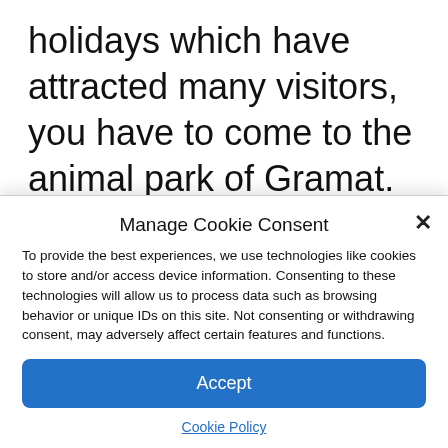holidays which have attracted many visitors, you have to come to the animal park of Gramat. Discoveries abound. “We have set up an application which allows, by scanning a QRcode printed on the panels of the various enclosures, to discover the life and qualities of the residents in the form of a
Manage Cookie Consent
To provide the best experiences, we use technologies like cookies to store and/or access device information. Consenting to these technologies will allow us to process data such as browsing behavior or unique IDs on this site. Not consenting or withdrawing consent, may adversely affect certain features and functions.
Accept
Cookie Policy